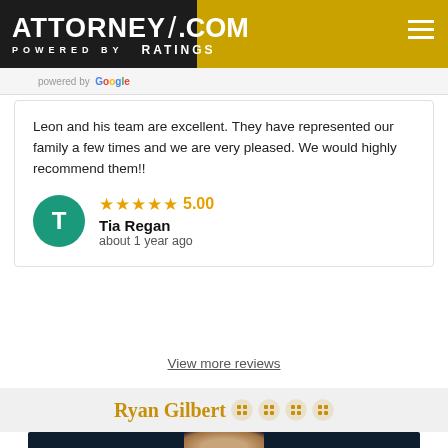ATTORNEY/.COM POWERED BY RATINGS
powered by Google
Leon and his team are excellent. They have represented our family a few times and we are very pleased. We would highly recommend them!!
★★★★★ 5.00
Tia Regan
about 1 year ago
View more reviews
Ryan Gilbert
[Figure (photo): Headshot photo of Ryan Gilbert, a bald man against a dark teal background]